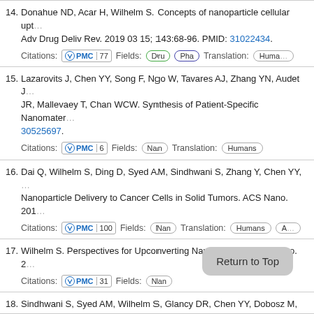14. Donahue ND, Acar H, Wilhelm S. Concepts of nanoparticle cellular uptake. Adv Drug Deliv Rev. 2019 03 15; 143:68-96. PMID: 31022434.
Citations: PMC 77  Fields: Dru Pha  Translation: Huma
15. Lazarovits J, Chen YY, Song F, Ngo W, Tavares AJ, Zhang YN, Audet J, JR, Mallevaey T, Chan WCW. Synthesis of Patient-Specific Nanomater... 30525697.
Citations: PMC 6  Fields: Nan  Translation: Humans
16. Dai Q, Wilhelm S, Ding D, Syed AM, Sindhwani S, Zhang Y, Chen YY, ... Nanoparticle Delivery to Cancer Cells in Solid Tumors. ACS Nano. 201...
Citations: PMC 100  Fields: Nan  Translation: Humans A
17. Wilhelm S. Perspectives for Upconverting Nanoparticles. ACS Nano. 2...
Citations: PMC 31  Fields: Nan
18. Sindhwani S, Syed AM, Wilhelm S, Glancy DR, Chen YY, Dobosz M, C... Nanoparticle Distribution in Intact Tissues. ACS N... 2019 05 24; 10(...
Citations: PMC 16  Fields: Nan  T... ls